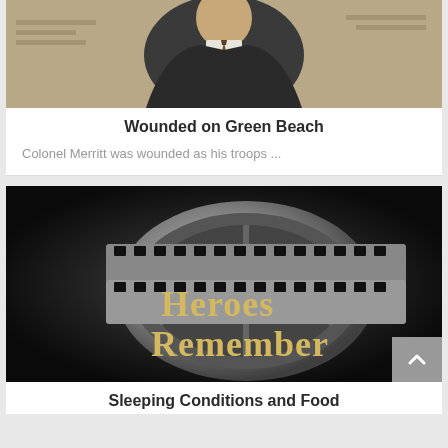[Figure (photo): Photo of an older man in a dark suit and tie seated at a desk]
Wounded on Green Beach
Colonel Merritt was wounded as his troops ...
[Figure (photo): Heroes Remember logo — film reel graphic with gold serif text reading 'Heroes Remember' on a dark background]
Sleeping Conditions and Food